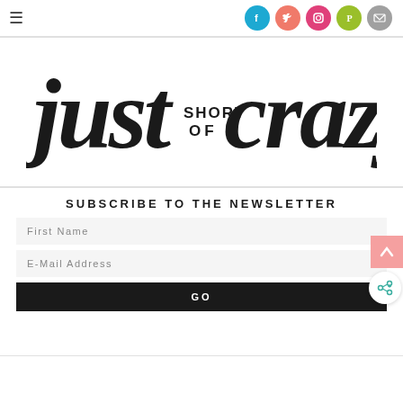[Figure (logo): Hamburger menu icon (three horizontal lines) on the left side of the navigation bar]
[Figure (logo): Social media icons row: Facebook (teal circle), Twitter (salmon circle), Instagram (pink circle), Pinterest (olive circle), Email (gray circle)]
[Figure (logo): Just Short of Crazy blog logo in handwritten/brush script font, black on white background]
SUBSCRIBE TO THE NEWSLETTER
First Name
E-Mail Address
GO